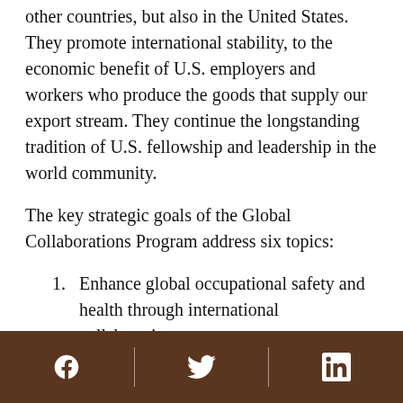other countries, but also in the United States. They promote international stability, to the economic benefit of U.S. employers and workers who produce the goods that supply our export stream. They continue the longstanding tradition of U.S. fellowship and leadership in the world community.
The key strategic goals of the Global Collaborations Program address six topics:
Enhance global occupational safety and health through international collaborations.
Reduce silicosis.
Reduce road traffic injuries of workers.
Reduce blood-borne pathogens among healthcare workers.
Facebook | Twitter | LinkedIn